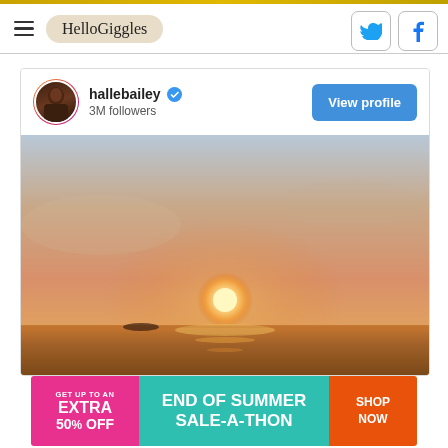HelloGiggles
[Figure (screenshot): Instagram embed card for hallebailey with 3M followers, showing a sunset over the ocean photo, with a View profile button]
[Figure (infographic): Advertisement banner: GET UP TO AN EXTRA 50% OFF - END OF SUMMER SALE-A-THON - SHOP NOW]